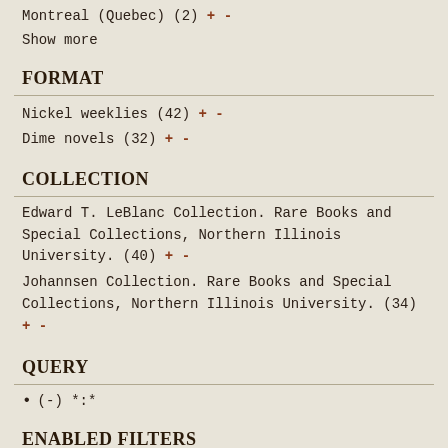Montreal (Quebec) (2) + -
Show more
FORMAT
Nickel weeklies (42) + -
Dime novels (32) + -
COLLECTION
Edward T. LeBlanc Collection. Rare Books and Special Collections, Northern Illinois University. (40) + -
Johannsen Collection. Rare Books and Special Collections, Northern Illinois University. (34) + -
QUERY
(-) *:*
ENABLED FILTERS